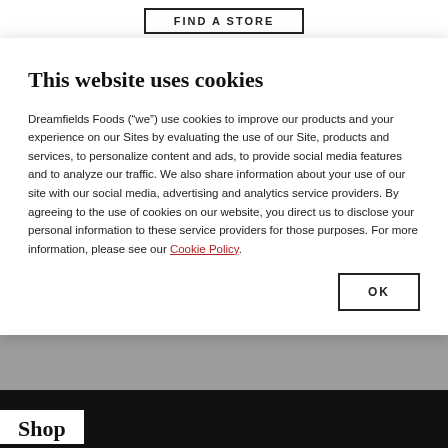[Figure (screenshot): FIND A STORE button at top of page]
This website uses cookies
Dreamfields Foods (“we”) use cookies to improve our products and your experience on our Sites by evaluating the use of our Site, products and services, to personalize content and ads, to provide social media features and to analyze our traffic. We also share information about your use of our site with our social media, advertising and analytics service providers. By agreeing to the use of cookies on our website, you direct us to disclose your personal information to these service providers for those purposes. For more information, please see our Cookie Policy.
OK
Shop